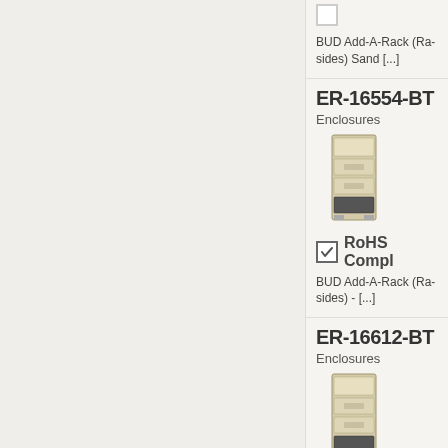BUD Add-A-Rack (Ra- sides) Sand [...]
ER-16554-BT
Enclosures
[Figure (photo): BUD enclosure rack cabinet product photo, beige/sand color]
RoHS Compl
BUD Add-A-Rack (Ra- sides) - [...]
ER-16612-BT
Enclosures
[Figure (photo): BUD enclosure rack cabinet product photo, beige/sand color]
RoHS Compl
BUD Economizer 19 Cabinet Rack [...]